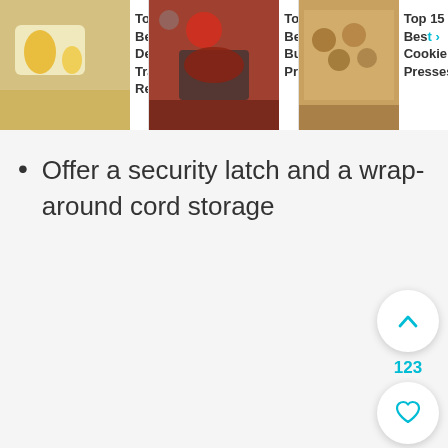[Figure (screenshot): Header navigation bar with three thumbnail cards: 'Top 15 Best Defrosting Tray Review...', 'Top 15 Best Burger Presses...', 'Top 15 Best Cookie Presses...' each with a food photo thumbnail and text link.]
Offer a security latch and a wrap-around cord storage
[Figure (infographic): Floating action buttons on right side: up chevron button, count '123', heart/favorite button, and cyan search button.]